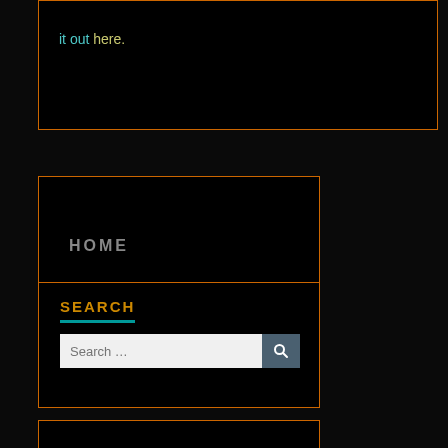it out here.
HOME
SEARCH
Search ...
NOW AVAILABLE!